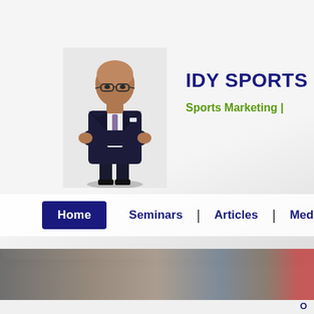[Figure (photo): Man in dark suit with arms crossed, wearing glasses, bald, standing against white background]
IDY SPORTS
Sports Marketing |
Home | Seminars | Articles | Media |
[Figure (photo): Blurred crowd/sports scene image strip at bottom of page]
O